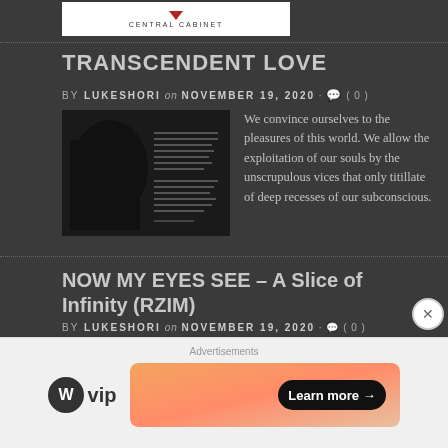[Figure (logo): Website logo with red diamond/chevron shape and text CENTRAL CABINET on white background]
TRANSCENDENT LOVE
BY LUKESHORI on NOVEMBER 19, 2020 · ( 0 )
[Figure (photo): Dark black and white photo of a person with text overlay]
We convince ourselves to the pleasures of this world. We allow the exploitation of our souls by the unscrupulous vices that only titillate of deep recesses of our subconscious.
NOW MY EYES SEE – A Slice of Infinity (RZIM)
BY LUKESHORI on NOVEMBER 19, 2020 · ( 0 )
[Figure (photo): Abstract pink and white image]
In suffering the absence of his earthly father, not by any choice of his own, my
Advertisements
[Figure (logo): WordPress VIP logo and advertisement banner with Learn more button]